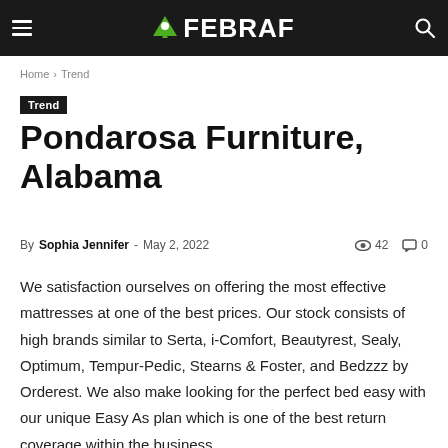FEBRAF
Home › Trend
Trend
Pondarosa Furniture, Alabama
By Sophia Jennifer - May 2, 2022  42  0
We satisfaction ourselves on offering the most effective mattresses at one of the best prices. Our stock consists of high brands similar to Serta, i-Comfort, Beautyrest, Sealy, Optimum, Tempur-Pedic, Stearns & Foster, and Bedzzz by Orderest. We also make looking for the perfect bed easy with our unique Easy As plan which is one of the best return coverage within the business.